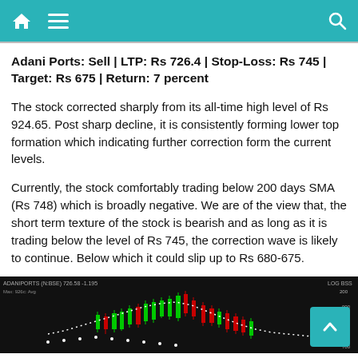Adani Ports stock trading page header with home, menu, and search icons
Adani Ports: Sell | LTP: Rs 726.4 | Stop-Loss: Rs 745 | Target: Rs 675 | Return: 7 percent
The stock corrected sharply from its all-time high level of Rs 924.65. Post sharp decline, it is consistently forming lower top formation which indicating further correction form the current levels.
Currently, the stock comfortably trading below 200 days SMA (Rs 748) which is broadly negative. We are of the view that, the short term texture of the stock is bearish and as long as it is trading below the level of Rs 745, the correction wave is likely to continue. Below which it could slip up to Rs 680-675.
[Figure (screenshot): Candlestick chart of ADANIPORTS showing bearish price action with red and green candles and a dotted moving average line on a black background. Price label shows 726.58 with annotations for high/low values.]